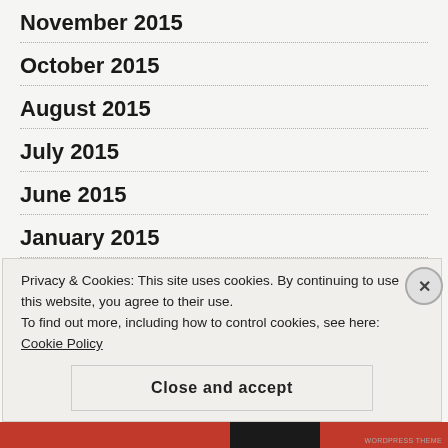November 2015
October 2015
August 2015
July 2015
June 2015
January 2015
December 2014
November 2014
Privacy & Cookies: This site uses cookies. By continuing to use this website, you agree to their use. To find out more, including how to control cookies, see here: Cookie Policy
Close and accept